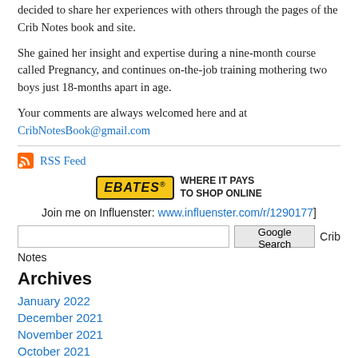decided to share her experiences with others through the pages of the Crib Notes book and site.
She gained her insight and expertise during a nine-month course called Pregnancy, and continues on-the-job training mothering two boys just 18-months apart in age.
Your comments are always welcomed here and at CribNotesBook@gmail.com
[Figure (other): RSS Feed icon with link]
[Figure (other): Ebates advertisement: WHERE IT PAYS TO SHOP ONLINE]
Join me on Influenster: www.influenster.com/r/1290177]
Google Search  Crib Notes
Archives
January 2022
December 2021
November 2021
October 2021